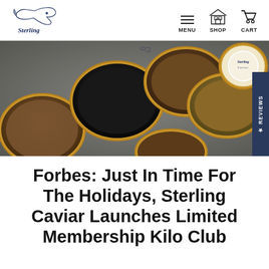Sterling Caviar — MENU SHOP CART
[Figure (photo): Overhead view of multiple open gold-rimmed tins filled with various colors of caviar — dark black, brown, and golden roe — arranged on a stone surface, with one branded Sterling Caviar tin partially open showing its label.]
Forbes: Just In Time For The Holidays, Sterling Caviar Launches Limited Membership Kilo Club